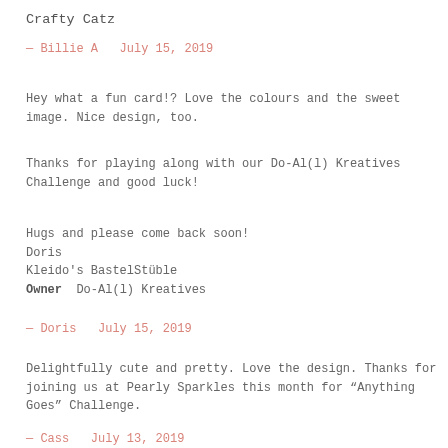Crafty Catz
— Billie A   July 15, 2019
Hey what a fun card!? Love the colours and the sweet image. Nice design, too.
Thanks for playing along with our Do-Al(l) Kreatives Challenge and good luck!
Hugs and please come back soon!
Doris
Kleido's BastelStüble
Owner  Do-Al(l) Kreatives
— Doris   July 15, 2019
Delightfully cute and pretty. Love the design. Thanks for joining us at Pearly Sparkles this month for “Anything Goes” Challenge.
— Cass   July 13, 2019